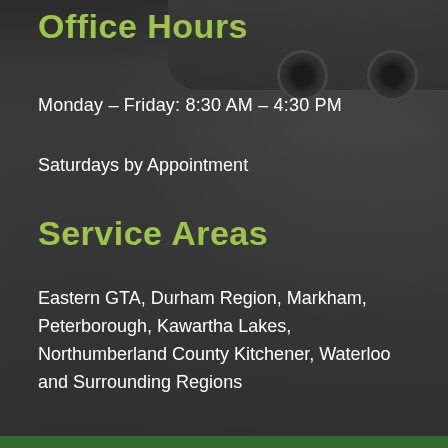Office Hours
Monday – Friday: 8:30 AM – 4:30 PM
Saturdays by Appointment
Service Areas
Eastern GTA, Durham Region, Markham, Peterborough, Kawartha Lakes, Northumberland County Kitchener, Waterloo and Surrounding Regions